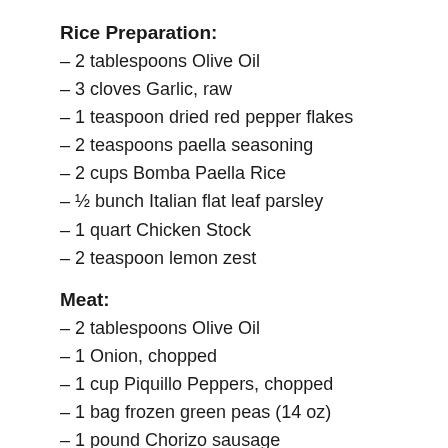Rice Preparation:
– 2 tablespoons Olive Oil
– 3 cloves Garlic, raw
– 1 teaspoon dried red pepper flakes
– 2 teaspoons paella seasoning
– 2 cups Bomba Paella Rice
– ½ bunch Italian flat leaf parsley
– 1 quart Chicken Stock
– 2 teaspoon lemon zest
Meat:
– 2 tablespoons Olive Oil
– 1 Onion, chopped
– 1 cup Piquillo Peppers, chopped
– 1 bag frozen green peas (14 oz)
– 1 pound Chorizo sausage